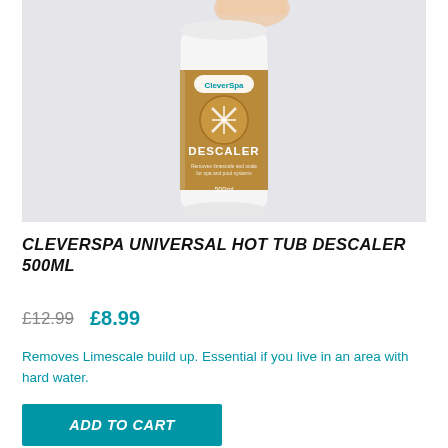[Figure (photo): CleverSpa Universal Hot Tub Descaler 500ml product bottle on a light grey background. The bottle is white with a gold/tan label featuring the CleverSpa logo at top, a circular icon with a snowflake/descaler symbol, the word DESCALER in bold white text, and 500ml at the bottom.]
CLEVERSPA UNIVERSAL HOT TUB DESCALER 500ML
£12.99   £8.99
Removes Limescale build up. Essential if you live in an area with hard water.
ADD TO CART